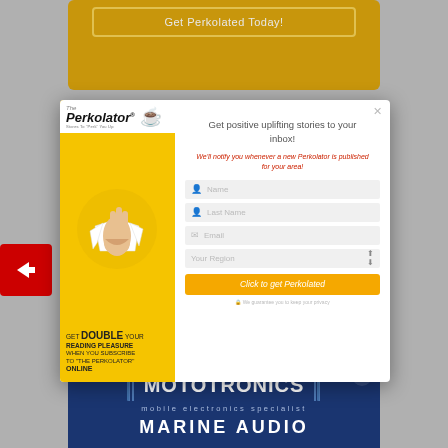[Figure (screenshot): Gold/yellow banner with 'Get Perkolated Today!' button outline at the top of the page]
[Figure (screenshot): Modal popup for The Perkolator newsletter subscription. Left panel: yellow background with Perkolator logo, hand breaking through paper illustration, text 'GET DOUBLE YOUR READING PLEASURE WHEN YOU SUBSCRIBE TO THE PERKOLATOR ONLINE'. Right panel: white form with title 'Get positive uplifting stories to your inbox!', subtitle in red, Name, Last Name, Email, Your Region fields, and orange 'Click to get Perkolated' button, privacy note at bottom. Close X in top right corner.]
[Figure (screenshot): Red square icon with white paper plane arrow icon on the left edge of the page]
[Figure (screenshot): Dark rounded rectangle button area with light text]
[Figure (screenshot): Mototronics mobile electronics specialist dark blue banner at the bottom, showing brand name and 'MARINE AUDIO' text beginning]